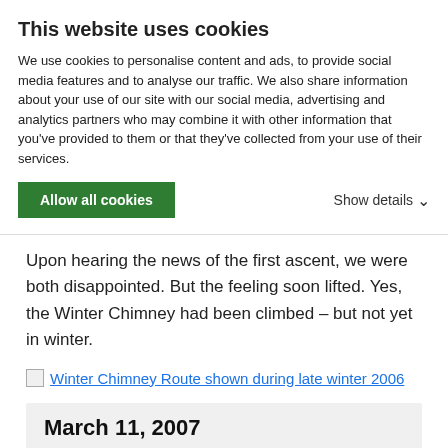This website uses cookies
We use cookies to personalise content and ads, to provide social media features and to analyse our traffic. We also share information about your use of our site with our social media, advertising and analytics partners who may combine it with other information that you’ve provided to them or that they’ve collected from your use of their services.
Allow all cookies | Show details
...it the Winter Chimney (IV-5.6).
Upon hearing the news of the first ascent, we were both disappointed. But the feeling soon lifted. Yes, the Winter Chimney had been climbed – but not yet in winter.
[Figure (other): Broken image icon linking to: Winter Chimney Route shown during late winter 2006]
March 11, 2007
We are back at the Stone House for our third winter attempt on the route. Last winter (2006) we tried the route twice, only to be denied once by soft snow conditions,